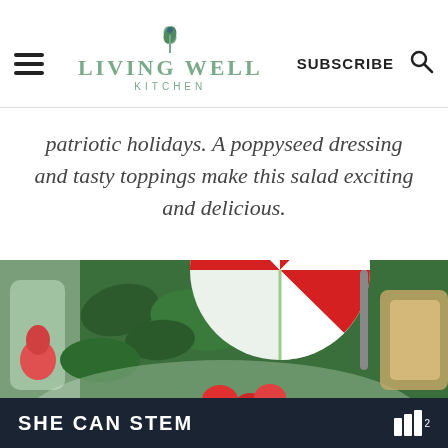LIVING WELL KITCHEN — SUBSCRIBE
patriotic holidays. A poppyseed dressing and tasty toppings make this salad exciting and delicious.
[Figure (photo): A bowl of green salad with strawberries, topped with a patriotic red, white, and blue paper fan decoration, alongside a glass of strawberry drink and a small bowl of granola.]
SHE CAN STEM